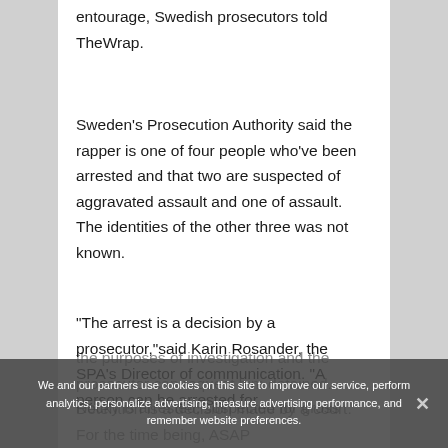entourage, Swedish prosecutors told TheWrap.
Sweden's Prosecution Authority said the rapper is one of four people who've been arrested and that two are suspected of aggravated assault and one of assault. The identities of the other three was not known.
“The arrest is a decision by a prosecutor,”said Karin Rosander, the SPA’s Director of communication. “A person can be arrested for the purposes of investigation and the prosecutor can request him detained. Detention is a decision made by a court. For the time being, ASAP Rocky is arrested, suspected for gross
We and our partners use cookies on this site to improve our service, perform analytics, personalize advertising, measure advertising performance, and remember website preferences.